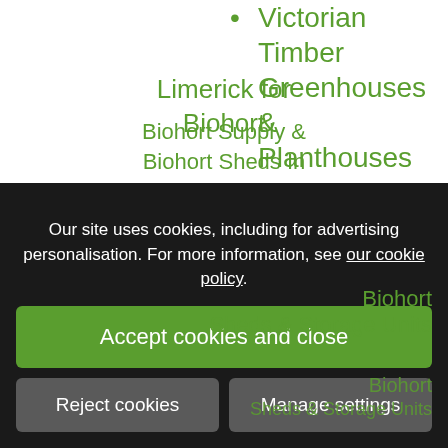Victorian Timber Greenhouses & Planthouses
Visit Ireland's largest Biohort Product Display
Waste Bin Storage Units Dublin
We build Driveways throughout Dublin
We offer BEST VALUE in Limerick for Biohort
Biohort Sheds in
Biohort Sheds & Storage Units
Biohort Sheds & Storage Units
Our site uses cookies, including for advertising personalisation. For more information, see our cookie policy.
Accept cookies and close
Reject cookies
Manage settings